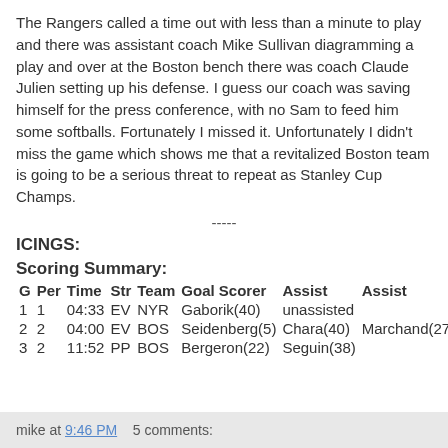The Rangers called a time out with less than a minute to play and there was assistant coach Mike Sullivan diagramming a play and over at the Boston bench there was coach Claude Julien setting up his defense. I guess our coach was saving himself for the press conference, with no Sam to feed him some softballs. Fortunately I missed it. Unfortunately I didn't miss the game which shows me that a revitalized Boston team is going to be a serious threat to repeat as Stanley Cup Champs.
-----
ICINGS:
Scoring Summary:
| G | Per | Time | Str | Team | Goal Scorer | Assist | Assist |
| --- | --- | --- | --- | --- | --- | --- | --- |
| 1 | 1 | 04:33 | EV | NYR | Gaborik(40) | unassisted |  |
| 2 | 2 | 04:00 | EV | BOS | Seidenberg(5) | Chara(40) | Marchand(27) |
| 3 | 2 | 11:52 | PP | BOS | Bergeron(22) | Seguin(38) |  |
mike at 9:46 PM    5 comments: